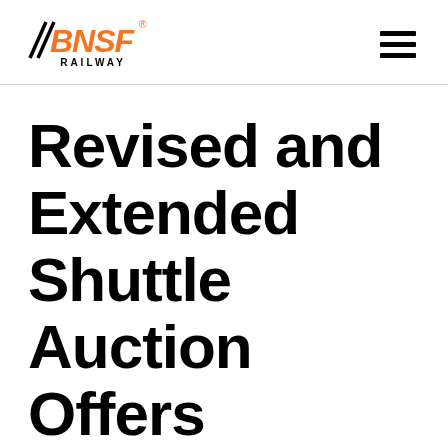BNSF Railway
Revised and Extended Shuttle Auction Offers Starting March 4, 2020